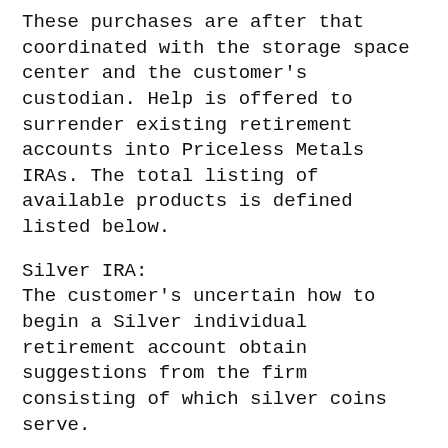These purchases are after that coordinated with the storage space center and the customer's custodian. Help is offered to surrender existing retirement accounts into Priceless Metals IRAs. The total listing of available products is defined listed below.
Silver IRA:
The customer's uncertain how to begin a Silver individual retirement account obtain suggestions from the firm consisting of which silver coins serve.
Gold individual retirement account:
Details is given on starting a Gold individual retirement account. This includes the appropriate metals for financial investment.